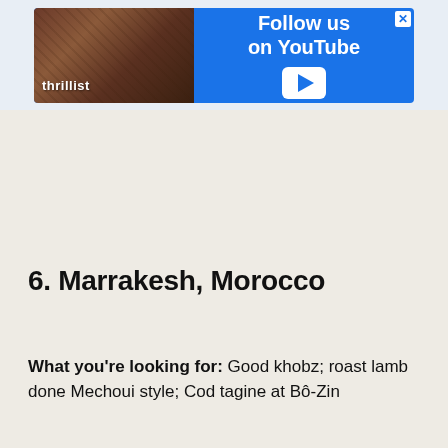[Figure (screenshot): Thrillist advertisement banner with a photo of a person and text 'Follow us on YouTube' with a YouTube play button, on a blue background]
6. Marrakesh, Morocco
What you're looking for: Good khobz; roast lamb done Mechoui style; Cod tagine at Bô-Zin